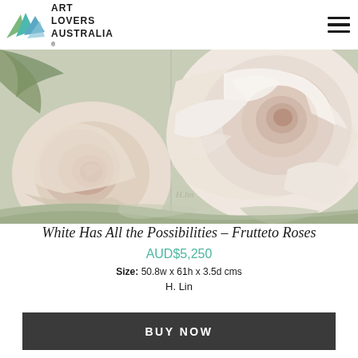Art Lovers Australia
[Figure (photo): Close-up painting of two cream and blush pink roses with soft white and green background tones, signed by H.Lin]
White Has All the Possibilities – Frutteto Roses
AUD$5,250
Size: 50.8w x 61h x 3.5d cms
H. Lin
BUY NOW